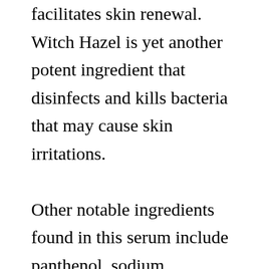facilitates skin renewal. Witch Hazel is yet another potent ingredient that disinfects and kills bacteria that may cause skin irritations.

Other notable ingredients found in this serum include panthenol, sodium hyaluronate, quercetin, and alpha-bisabolol that speed up skin renewal. Anti-aging ingredients such as glycolic acid, mandelic acid, Vitamin E, lactic acid, and retinol reduce the appearance of skin aging signs, including fine lines, wrinkles, and sunspots. Lastly, salicylic acid